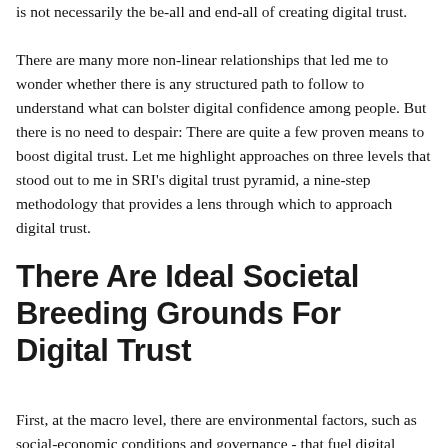is not necessarily the be-all and end-all of creating digital trust.
There are many more non-linear relationships that led me to wonder whether there is any structured path to follow to understand what can bolster digital confidence among people. But there is no need to despair: There are quite a few proven means to boost digital trust. Let me highlight approaches on three levels that stood out to me in SRI's digital trust pyramid, a nine-step methodology that provides a lens through which to approach digital trust.
There Are Ideal Societal Breeding Grounds For Digital Trust
First, at the macro level, there are environmental factors, such as social-economic conditions and governance - that fuel digital